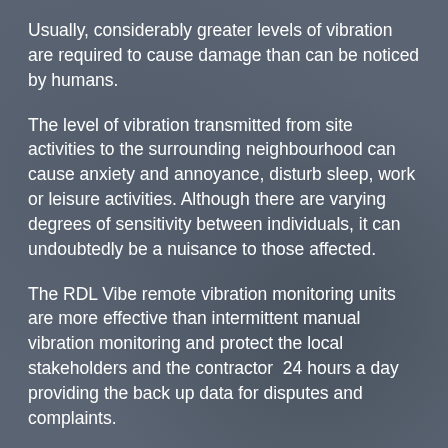Usually, considerably greater levels of vibration are required to cause damage than can be noticed by humans.
The level of vibration transmitted from site activities to the surrounding neighbourhood can cause anxiety and annoyance, disturb sleep, work or leisure activities. Although there are varying degrees of sensitivity between individuals, it can undoubtedly be a nuisance to those affected.
The RDL Vibe remote vibration monitoring units are more effective than intermittent manual vibration monitoring and protect the local stakeholders and the contractor 24 hours a day providing the back up data for disputes and complaints.